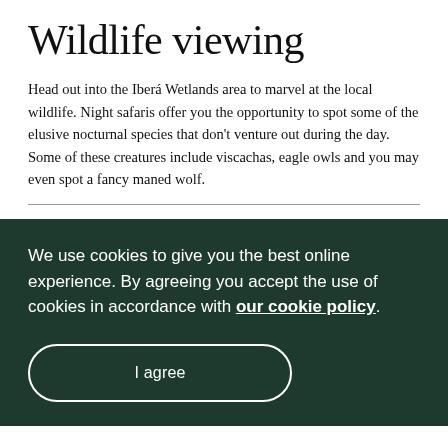Wildlife viewing
Head out into the Iberá Wetlands area to marvel at the local wildlife. Night safaris offer you the opportunity to spot some of the elusive nocturnal species that don't venture out during the day. Some of these creatures include viscachas, eagle owls and you may even spot a fancy maned wolf.
We use cookies to give you the best online experience. By agreeing you accept the use of cookies in accordance with our cookie policy.